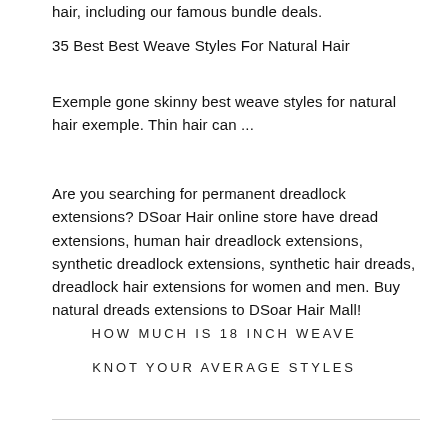hair, including our famous bundle deals.
35 Best Best Weave Styles For Natural Hair
Exemple gone skinny best weave styles for natural hair exemple. Thin hair can ...
Are you searching for permanent dreadlock extensions? DSoar Hair online store have dread extensions, human hair dreadlock extensions, synthetic dreadlock extensions, synthetic hair dreads, dreadlock hair extensions for women and men. Buy natural dreads extensions to DSoar Hair Mall!
HOW MUCH IS 18 INCH WEAVE
KNOT YOUR AVERAGE STYLES